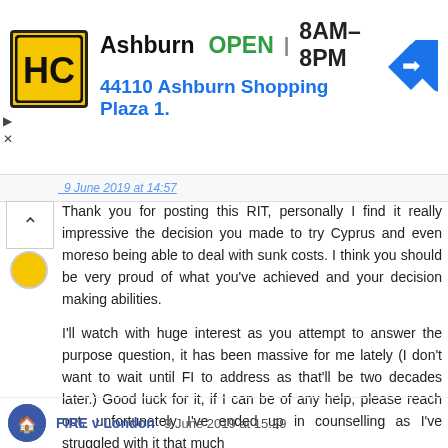[Figure (advertisement): HC logo ad banner: Ashburn OPEN 8AM-8PM, 44110 Ashburn Shopping Plaza 1., with navigation icon]
Thank you for posting this RIT, personally I find it really impressive the decision you made to try Cyprus and even moreso being able to deal with sunk costs. I think you should be very proud of what you've achieved and your decision making abilities.

I'll watch with huge interest as you attempt to answer the purpose question, it has been massive for me lately (I don't want to wait until FI to address as that'll be two decades later.) Good luck for it, if I can be of any help, please reach out, unfortunately I've ended up in counselling as I've struggled with it that much
Reply
FIRE v London 9 June 2019 at 15:29